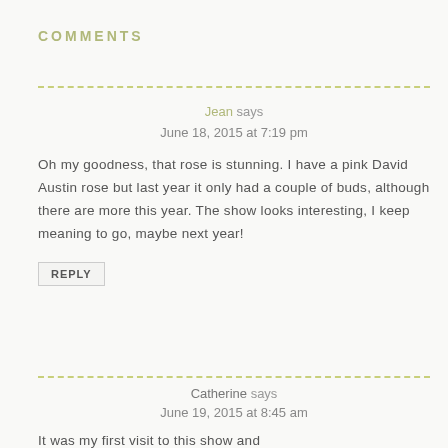COMMENTS
Jean says
June 18, 2015 at 7:19 pm
Oh my goodness, that rose is stunning. I have a pink David Austin rose but last year it only had a couple of buds, although there are more this year. The show looks interesting, I keep meaning to go, maybe next year!
REPLY
Catherine says
June 19, 2015 at 8:45 am
It was my first visit to this show and